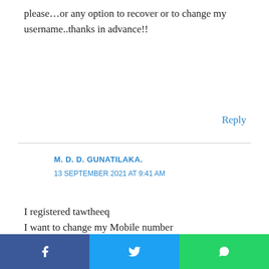please…or any option to recover or to change my username..thanks in advance!!
Reply
M. D. D. GUNATILAKA.
13 SEPTEMBER 2021 AT 9:41 AM
I registered tawtheeq
I want to change my Mobile number
System give message mobile number & ID number
[Figure (infographic): Orange advertisement banner: 'Help send medical aid to Ukraine >>' with DirectRelief logo on right]
[Figure (infographic): Social share bar with Facebook (blue), Twitter (light blue), and WhatsApp (green) icons]